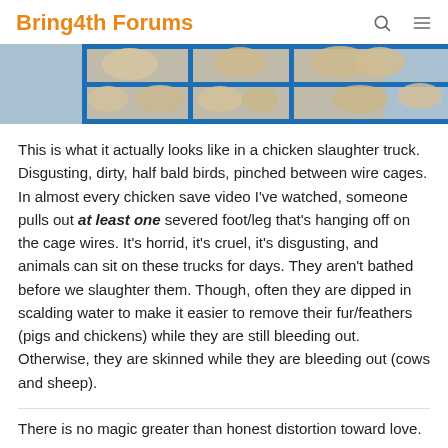Bring4th Forums
[Figure (photo): Chickens crowded in blue wire cages on a slaughter truck]
This is what it actually looks like in a chicken slaughter truck. Disgusting, dirty, half bald birds, pinched between wire cages. In almost every chicken save video I've watched, someone pulls out at least one severed foot/leg that's hanging off on the cage wires. It's horrid, it's cruel, it's disgusting, and animals can sit on these trucks for days. They aren't bathed before we slaughter them. Though, often they are dipped in scalding water to make it easier to remove their fur/feathers (pigs and chickens) while they are still bleeding out. Otherwise, they are skinned while they are bleeding out (cows and sheep).
There is no magic greater than honest distortion toward love.